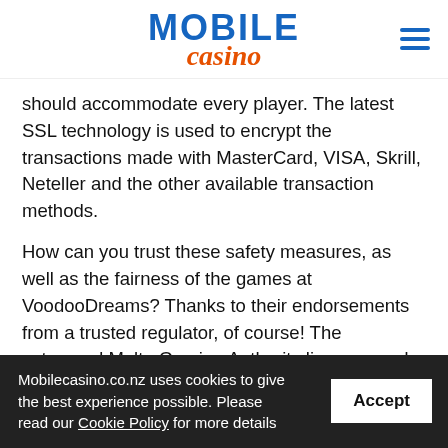[Figure (logo): Mobile Casino logo with 'MOBILE' in bold blue uppercase letters and 'casino' in orange italic script below. Hamburger menu icon (three blue horizontal lines) in the top right corner.]
should accommodate every player. The latest SSL technology is used to encrypt the transactions made with MasterCard, VISA, Skrill, Neteller and the other available transaction methods.
How can you trust these safety measures, as well as the fairness of the games at VoodooDreams? Thanks to their endorsements from a trusted regulator, of course! The esteemed Malta Gaming Authority licenses and regulates this mobile casino, so you know you can trust it completely.
Mobilecasino.co.nz uses cookies to give the best experience possible. Please read our Cookie Policy for more details